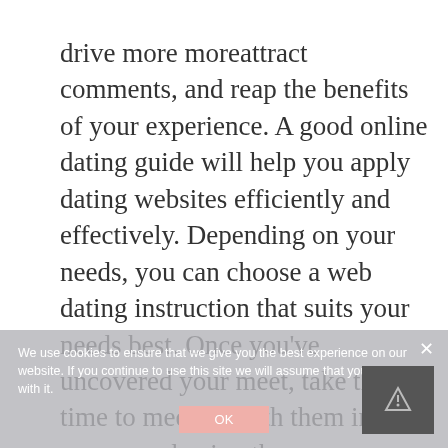drive more moreattract comments, and reap the benefits of your experience. A good online dating guide will help you apply dating websites efficiently and effectively. Depending on your needs, you can choose a web dating instruction that suits your needs best. Once you've uncovered your meet, take the time to meet up with them in person and enjoy the romance.

An online dating guide also
We use cookies to ensure that we give you the best experience on our website. If you continue to use this site we will assume that you are happy with it.